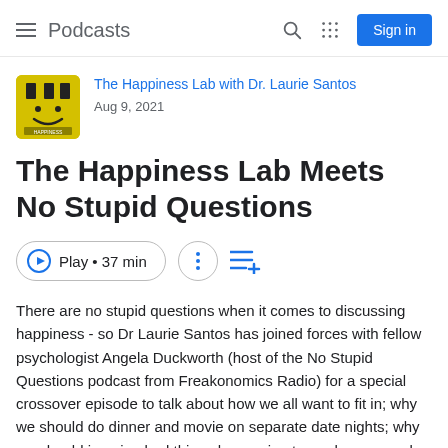Podcasts
The Happiness Lab with Dr. Laurie Santos
Aug 9, 2021
The Happiness Lab Meets No Stupid Questions
Play • 37 min
There are no stupid questions when it comes to discussing happiness - so Dr Laurie Santos has joined forces with fellow psychologist Angela Duckworth (host of the No Stupid Questions podcast from Freakonomics Radio) for a special crossover episode to talk about how we all want to fit in; why we should do dinner and movie on separate date nights; why we should imagine bad things happening to our homes; and why a change for the worse in your life can actually be a